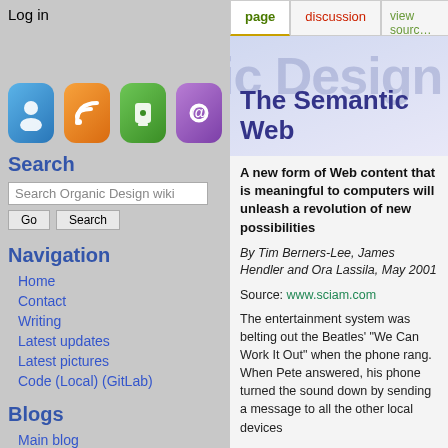Log in
[Figure (illustration): Four app icons in a row: blue person icon, orange RSS feed icon, green phone/hand icon, purple at-symbol icon]
Search
Search Organic Design wiki
Navigation
Home
Contact
Writing
Latest updates
Latest pictures
Code (Local) (GitLab)
Blogs
Main blog
Mum & Dad's 2018 Brazil holiday
Our sixth year on the land
[Figure (screenshot): Wiki page tabs: page (highlighted), discussion, view source]
The Semantic Web
A new form of Web content that is meaningful to computers will unleash a revolution of new possibilities
By Tim Berners-Lee, James Hendler and Ora Lassila, May 2001
Source: www.sciam.com
The entertainment system was belting out the Beatles' "We Can Work It Out" when the phone rang. When Pete answered, his phone turned the sound down by sending a message to all the other local devices